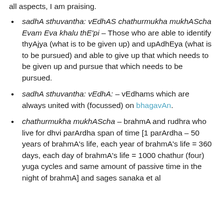sadhA sthuvantha: vEdhAS chathurmukha mukhAScha Evam Eva khalu thE'pi – Those who are able to identify thyAjya (what is to be given up) and upAdhEya (what is to be pursued) and able to give up that which needs to be given up and pursue that which needs to be pursued.
sadhA sthuvantha: vEdhA: – vEdhams which are always united with (focussed) on bhagavAn.
chathurmukha mukhAScha – brahmA and rudhra who live for dhvi parArdha span of time [1 parArdha – 50 years of brahmA's life, each year of brahmA's life = 360 days, each day of brahmA's life = 1000 chathur (four) yuga cycles and same amount of passive time in the night of brahmA] and sages sanaka et al